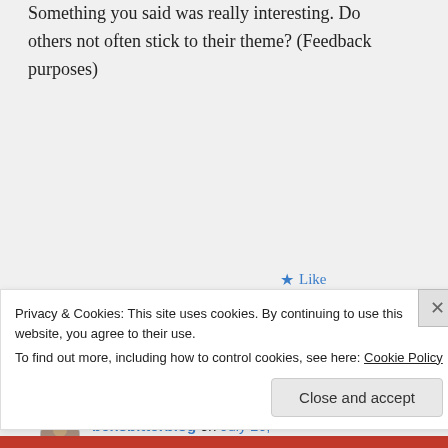Something you said was really interesting. Do others not often stick to their theme? (Feedback purposes)
★ Like
↪ Reply
bensbitterblog on July 26, 2017 at 9:47 am
Privacy & Cookies: This site uses cookies. By continuing to use this website, you agree to their use.
To find out more, including how to control cookies, see here: Cookie Policy
Close and accept